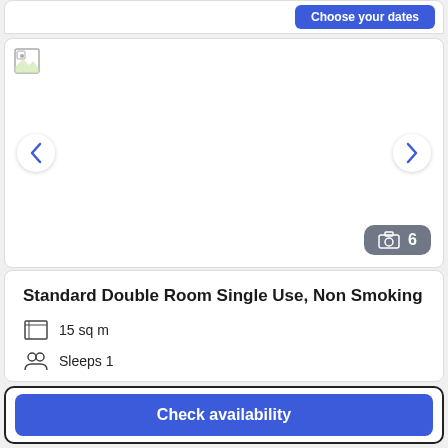[Figure (screenshot): Hotel room image carousel with navigation arrows and photo count badge showing 6 photos. Image area is blank/broken.]
Standard Double Room Single Use, Non Smoking
15 sq m
Sleeps 1
1 Double Bed
More details >
Check availability